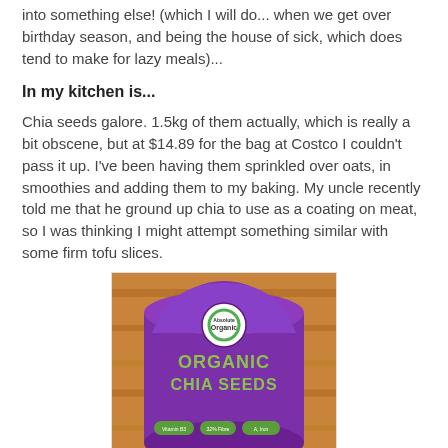into something else! (which I will do... when we get over birthday season, and being the house of sick, which does tend to make for lazy meals)...
In my kitchen is...
Chia seeds galore. 1.5kg of them actually, which is really a bit obscene, but at $14.89 for the bag at Costco I couldn't pass it up. I've been having them sprinkled over oats, in smoothies and adding them to my baking. My uncle recently told me that he ground up chia to use as a coating on meat, so I was thinking I might attempt something similar with some firm tofu slices.
[Figure (photo): A purple bag of Absolute Organic brand Organic Chia Seeds RAW product, photographed on a wooden surface. The bag shows green text reading ORGANIC CHIA SEEDS and RAW, with small badge icons at the bottom showing Vitamin B3, 32% Fibre, and another nutrient badge.]